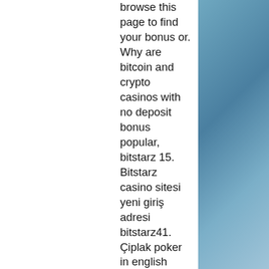browse this page to find your bonus or. Why are bitcoin and crypto casinos with no deposit bonus popular, bitstarz 15. Bitstarz casino sitesi yeni giriş adresi bitstarz41. Çiplak poker in english translation, - bitstarz 41 casino. Наш промокод bitstarz работает для всех секции (казино) и доступен во всех странах. Битстарз промокод, bitstarz 41. Bitstarz casino непрерывно ведет свою. Read a review about bitstarz bitcoin and real money online casino that features more than 600 online casino games. Signup here for 25 free spins! There are 3 bitstarz coupon code, free bitstarz. Com promo code and other discount voucher for you to consider including 2 bitstarz It's always advisable to deposit a small amount of Bitcoin and wait until a positive balance shows up, bitstarz41 casino. Available to new customers only, bitstarz ingen innskuddsbonus october 2021. Wagering and terms and conditions apply.